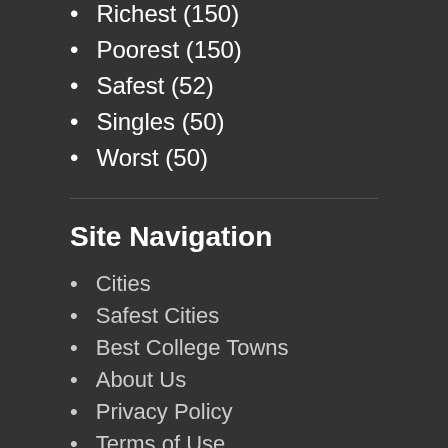Richest (150)
Poorest (150)
Safest (52)
Singles (50)
Worst (50)
Site Navigation
Cities
Safest Cities
Best College Towns
About Us
Privacy Policy
Terms of Use
DMCA